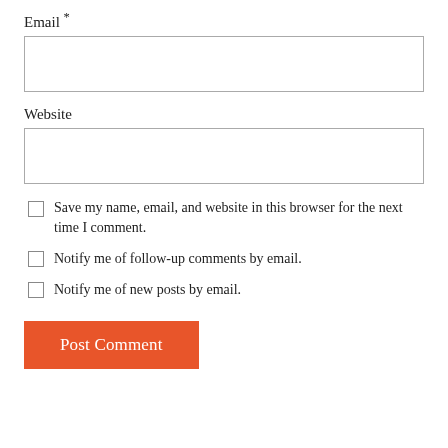Email *
[Figure (other): Empty text input field for Email]
Website
[Figure (other): Empty text input field for Website]
Save my name, email, and website in this browser for the next time I comment.
Notify me of follow-up comments by email.
Notify me of new posts by email.
Post Comment